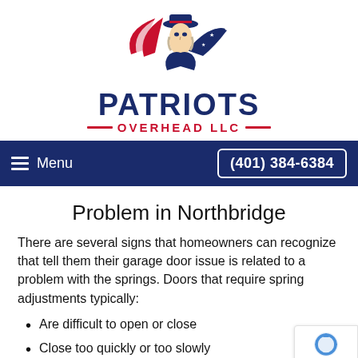[Figure (logo): Patriots Overhead LLC logo with patriot soldier figure and American flag elements, navy and red color scheme]
Menu  (401) 384-6384
Problem in Northbridge
There are several signs that homeowners can recognize that tell them their garage door issue is related to a problem with the springs. Doors that require spring adjustments typically:
Are difficult to open or close
Close too quickly or too slowly
Get "stuck" or don't fully open or close